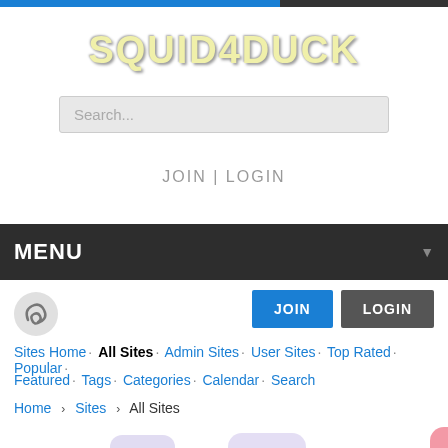SQUID4DUCK
Search...
JOIN | LOGIN
MENU
Sites Home · All Sites · Admin Sites · User Sites · Top Rated · Popular · Featured · Tags · Categories · Calendar · Search
Home › Sites › All Sites